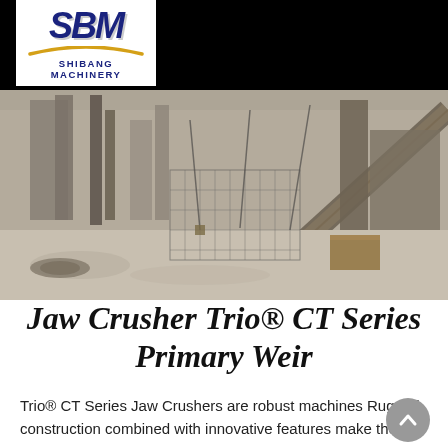[Figure (logo): SBM Shibang Machinery logo — bold dark blue italic SBM letters with a gold arc beneath, and 'SHIBANG MACHINERY' text below, on white background, placed on black header bar]
[Figure (photo): Industrial quarry or mining construction site photograph showing machinery, conveyor belts, dust-covered ground, rebar fencing, and construction structures in a muted grey-brown palette]
Jaw Crusher Trio® CT Series Primary Weir
Trio® CT Series Jaw Crushers are robust machines Rugged construction combined with innovative features make the CT